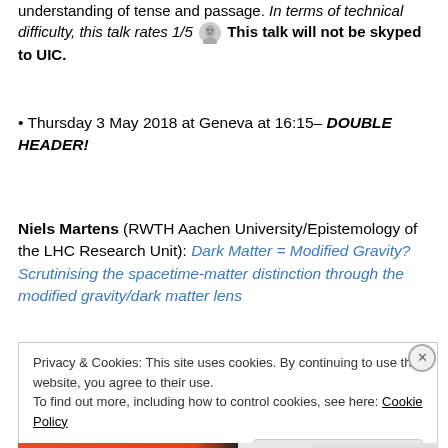understanding of tense and passage. In terms of technical difficulty, this talk rates 1/5 [icon] This talk will not be skyped to UIC.
• Thursday 3 May 2018 at Geneva at 16:15– DOUBLE HEADER!
Niels Martens (RWTH Aachen University/Epistemology of the LHC Research Unit): Dark Matter = Modified Gravity? Scrutinising the spacetime-matter distinction through the modified gravity/dark matter lens
Privacy & Cookies: This site uses cookies. By continuing to use this website, you agree to their use.
To find out more, including how to control cookies, see here: Cookie Policy